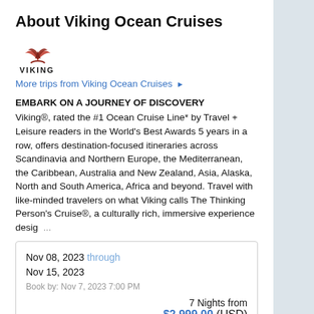About Viking Ocean Cruises
[Figure (logo): Viking Ocean Cruises logo - stylized ship/wave mark above VIKING text]
More trips from Viking Ocean Cruises ▶
EMBARK ON A JOURNEY OF DISCOVERY
Viking®, rated the #1 Ocean Cruise Line* by Travel + Leisure readers in the World's Best Awards 5 years in a row, offers destination-focused itineraries across Scandinavia and Northern Europe, the Mediterranean, the Caribbean, Australia and New Zealand, Asia, Alaska, North and South America, Africa and beyond. Travel with like-minded travelers on what Viking calls The Thinking Person's Cruise®, a culturally rich, immersive experience desig  ...
| Inside | Outside | Balcony | Suite |
| --- | --- | --- | --- |